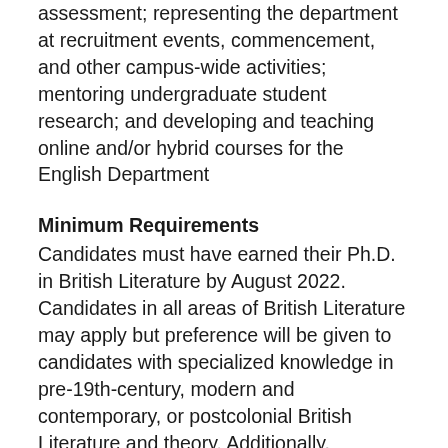assessment; representing the department at recruitment events, commencement, and other campus-wide activities; mentoring undergraduate student research; and developing and teaching online and/or hybrid courses for the English Department
Minimum Requirements
Candidates must have earned their Ph.D. in British Literature by August 2022. Candidates in all areas of British Literature may apply but preference will be given to candidates with specialized knowledge in pre-19th-century, modern and contemporary, or postcolonial British Literature and theory. Additionally, candidates should have experience teaching 100- and 200-level composition courses.
Equal Opportunity
Fort Lewis College does not discriminate on the basis of race, age, color, religion, national origin, sex, disability, sexual orientation, gender identity, gender expression, family or domestic status, political beliefs, veteran status, pregnancy, or genetic information. Accordingly, equal